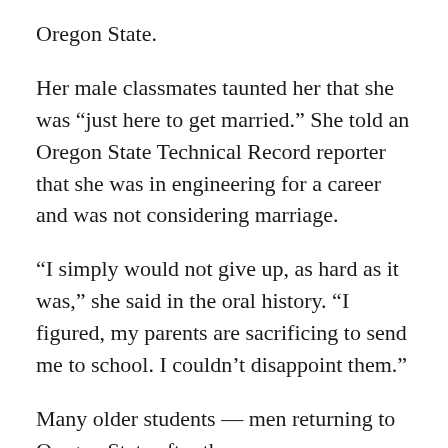Oregon State.
Her male classmates taunted her that she was “just here to get married.” She told an Oregon State Technical Record reporter that she was in engineering for a career and was not considering marriage.
“I simply would not give up, as hard as it was,” she said in the oral history. “I figured, my parents are sacrificing to send me to school. I couldn’t disappoint them.”
Many older students — men returning to Oregon State after the war — were supportive and kind. She had the support of her professors as well, especially Ben Ruffner, an aeronautical pioneer who served as a